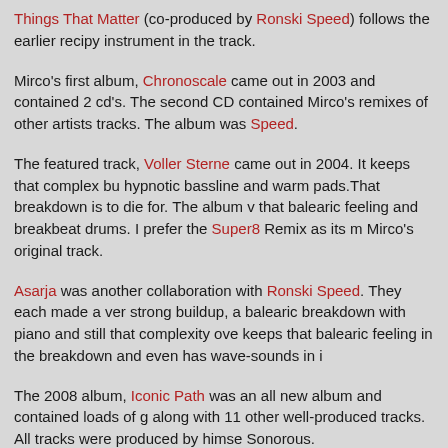Things That Matter (co-produced by Ronski Speed) follows the earlier recipy instrument in the track.
Mirco's first album, Chronoscale came out in 2003 and contained 2 cd's. The second CD contained Mirco's remixes of other artists tracks. The album was Speed.
The featured track, Voller Sterne came out in 2004. It keeps that complex bu hypnotic bassline and warm pads.That breakdown is to die for. The album v that balearic feeling and breakbeat drums. I prefer the Super8 Remix as its m Mirco's original track.
Asarja was another collaboration with Ronski Speed. They each made a ver strong buildup, a balearic breakdown with piano and still that complexity ove keeps that balearic feeling in the breakdown and even has wave-sounds in i
The 2008 album, Iconic Path was an all new album and contained loads of g along with 11 other well-produced tracks. All tracks were produced by himse Sonorous.
The last release we saw from Mirco was the 2011 track, Sleeping Beauty. W chillout-track, the Ronski Speed-remix is a techy monster. Love the piano in